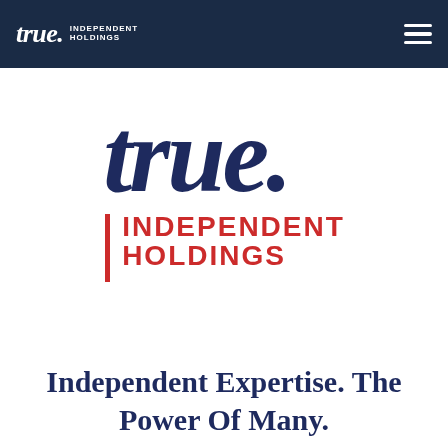true. INDEPENDENT HOLDINGS
[Figure (logo): True Independent Holdings logo: large italic 'true.' in dark navy, with a red vertical bar and 'INDEPENDENT HOLDINGS' in red bold capitals below]
Independent Expertise. The Power Of Many.